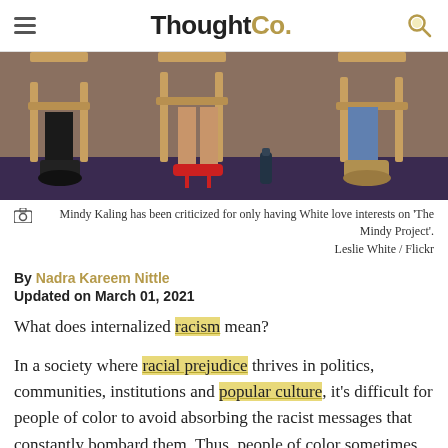ThoughtCo.
[Figure (photo): Lower legs and feet of multiple people seated in director-style chairs on a stage with purple floor; shoes visible including heels and casual shoes; a bottle on the floor.]
Mindy Kaling has been criticized for only having White love interests on 'The Mindy Project'. Leslie White / Flickr
By Nadra Kareem Nittle
Updated on March 01, 2021
What does internalized racism mean?
In a society where racial prejudice thrives in politics, communities, institutions and popular culture, it's difficult for people of color to avoid absorbing the racist messages that constantly bombard them. Thus, people of color sometimes